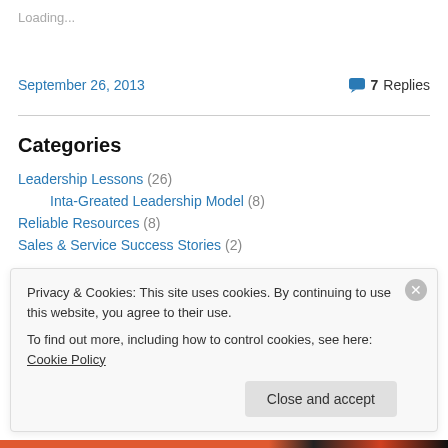Loading...
September 26, 2013
7 Replies
Categories
Leadership Lessons (26)
Inta-Greated Leadership Model (8)
Reliable Resources (8)
Sales & Service Success Stories (2)
Privacy & Cookies: This site uses cookies. By continuing to use this website, you agree to their use.
To find out more, including how to control cookies, see here: Cookie Policy
Close and accept